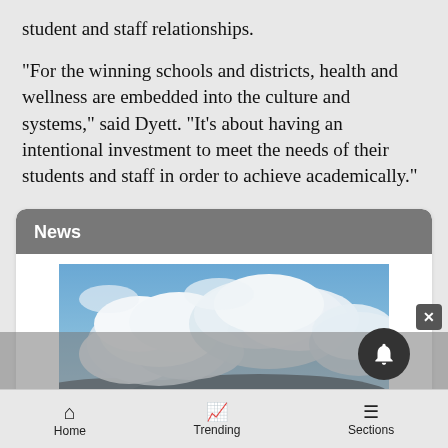student and staff relationships.
“For the winning schools and districts, health and wellness are embedded into the culture and systems,” said Dyett. “It’s about having an intentional investment to meet the needs of their students and staff in order to achieve academically.”
News
[Figure (photo): Landscape photo showing a cloudy blue sky with rolling hills or mountains in the background.]
Home   Trending   Sections